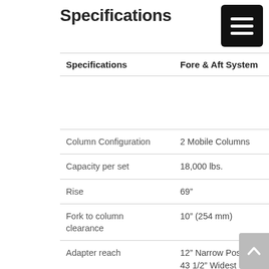Specifications
| Specifications | Fore & Aft System |
| --- | --- |
|  |  |
| Column Configuration | 2 Mobile Columns |
| Capacity per set | 18,000 lbs. |
| Rise | 69" |
| Fork to column clearance | 10" (254 mm) |
| Adapter reach | 12" Narrow Position
43 1/2" Widest Position
3 1/2" Lowest Pick... |